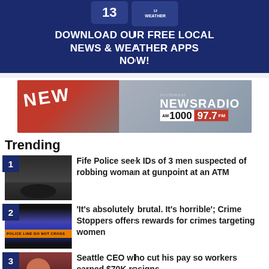[Figure (other): Download Our Free Local News & Weather Apps Now! banner with app icons]
[Figure (other): Northwest NewsRadio AM1000 97.7FM advertisement banner]
Trending
[Figure (photo): Thumbnail image of hooded figures for story 1]
Fife Police seek IDs of 3 men suspected of robbing woman at gunpoint at an ATM
[Figure (photo): Police line do not cross tape with police lights for story 2]
'It's absolutely brutal. It's horrible'; Crime Stoppers offers rewards for crimes targeting women
[Figure (photo): Man with long hair for story 3]
Seattle CEO who cut his pay so workers earned $70K resigns